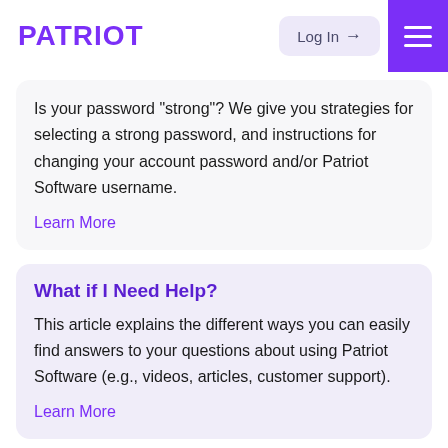PATRIOT | Log In → [hamburger menu]
Is your password “strong”? We give you strategies for selecting a strong password, and instructions for changing your account password and/or Patriot Software username.
Learn More
What if I Need Help?
This article explains the different ways you can easily find answers to your questions about using Patriot Software (e.g., videos, articles, customer support).
Learn More